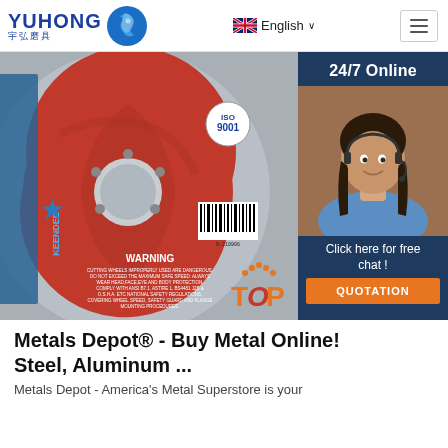[Figure (logo): YUHONG 宇弘磨具 logo with blue wave/dragon emblem]
[Figure (screenshot): Navigation bar with English language selector and hamburger menu]
[Figure (photo): KEENDEE brand metal cutting disc/wheel showing R.P.M. 13300, SPEED 80M/S, WARNING text, ISO 9001 badge, barcode. Overlaid with 24/7 Online chat widget showing a customer service representative, Click here for free chat! text, and QUOTATION button.]
Metals Depot® - Buy Metal Online! Steel, Aluminum ...
Metals Depot - America's Metal Superstore is your